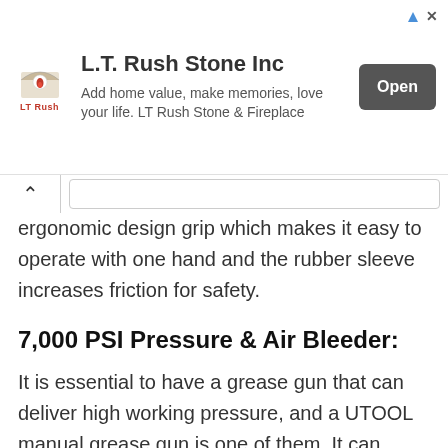[Figure (other): Advertisement banner for L.T. Rush Stone Inc with logo, tagline 'Add home value, make memories, love your life. LT Rush Stone & Fireplace', and an Open button]
ergonomic design grip which makes it easy to operate with one hand and the rubber sleeve increases friction for safety.
7,000 PSI Pressure & Air Bleeder:
It is essential to have a grease gun that can deliver high working pressure, and a UTOOL manual grease gun is one of them. It can deliver up to 7,000 PSI high pressure that allows you to apply grease